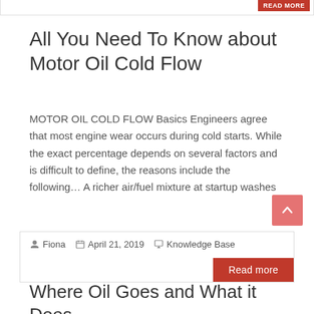All You Need To Know about Motor Oil Cold Flow
MOTOR OIL COLD FLOW Basics Engineers agree that most engine wear occurs during cold starts. While the exact percentage depends on several factors and is difficult to define, the reasons include the following… A richer air/fuel mixture at startup washes
Fiona   April 21, 2019   Knowledge Base
Read more
Where Oil Goes and What it Does